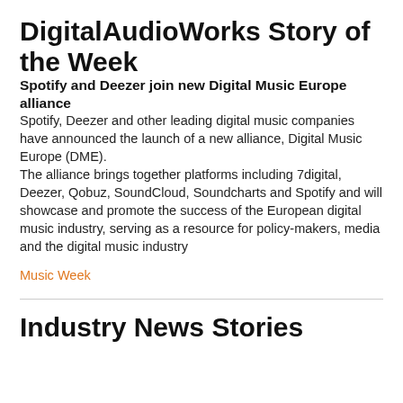DigitalAudioWorks Story of the Week
Spotify and Deezer join new Digital Music Europe alliance
Spotify, Deezer and other leading digital music companies have announced the launch of a new alliance, Digital Music Europe (DME).
The alliance brings together platforms including 7digital, Deezer, Qobuz, SoundCloud, Soundcharts and Spotify and will showcase and promote the success of the European digital music industry, serving as a resource for policy-makers, media and the digital music industry
Music Week
Industry News Stories